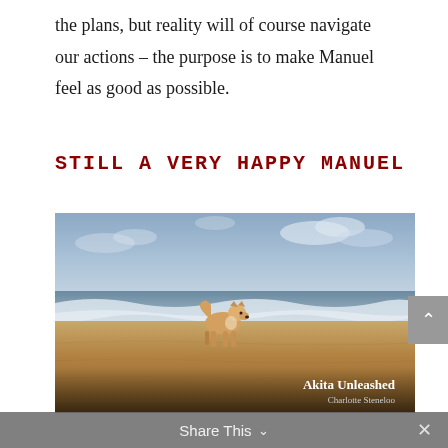the plans, but reality will of course navigate our actions – the purpose is to make Manuel feel as good as possible.
STILL A VERY HAPPY MANUEL
[Figure (photo): An Akita dog standing on a sandy beach near the ocean shoreline, with waves in the background and a cloudy sky. Watermark reads 'Akita Unleashed / Charlotte Steneloo'.]
Share This ∨  ×